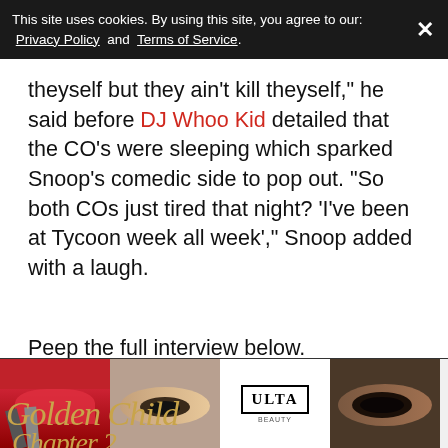This site uses cookies. By using this site, you agree to our: Privacy Policy and Terms of Service.
theyself but they ain't kill theyself," he said before DJ Whoo Kid detailed that the CO's were sleeping which sparked Snoop's comedic side to pop out. "So both COs just tired that night? 'I've been at Tycoon week all week'," Snoop added with a laugh.
Peep the full interview below.
[Figure (screenshot): Dark video player/media embed showing stylized cursive golden text reading 'Golden Child Chapter 2', with 'Top Articles' label overlay, bokeh light dots in background, and a vertical dots menu icon at right.]
[Figure (photo): Advertisement banner showing makeup/cosmetics imagery with ULTA Beauty branding and 'SHOP NOW' call to action.]